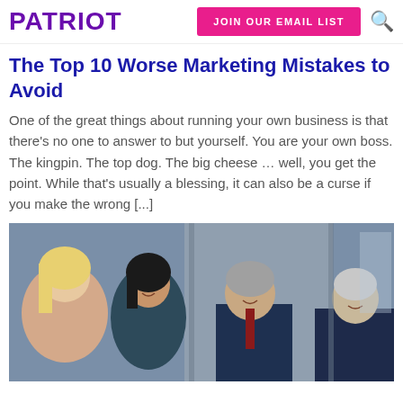PATRIOT | JOIN OUR EMAIL LIST
The Top 10 Worse Marketing Mistakes to Avoid
One of the great things about running your own business is that there's no one to answer to but yourself. You are your own boss. The kingpin. The top dog. The big cheese … well, you get the point. While that's usually a blessing, it can also be a curse if you make the wrong [...]
[Figure (photo): Group of four business professionals smiling and talking in an office setting — two women and two men of varying ages and ethnicities.]